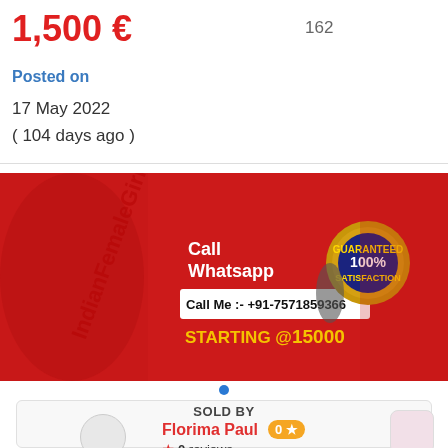1,500 €
162
Posted on
17 May 2022
( 104 days ago )
[Figure (photo): Advertising banner on red background showing two women in red swimwear, text 'Call Whatsapp', phone number 'Call Me :- +91-7571859366', text 'STARTING @15000', and a '100% SATISFACTION GUARANTEED' gold badge]
SOLD BY
Florima Paul  0★
★ 0 reviews